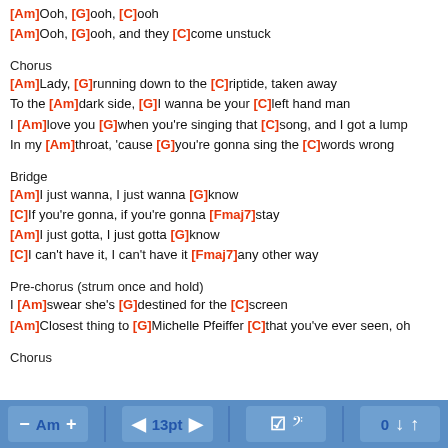[Am] Ooh, [G] ooh, [C] ooh
[Am] Ooh, [G] ooh, and they [C] come unstuck
Chorus
[Am] Lady, [G] running down to the [C] riptide, taken away
To the [Am] dark side, [G] I wanna be your [C] left hand man
I [Am] love you [G] when you're singing that [C] song, and I got a lump
In my [Am] throat, 'cause [G] you're gonna sing the [C] words wrong
Bridge
[Am] I just wanna, I just wanna [G] know
[C] If you're gonna, if you're gonna [Fmaj7] stay
[Am] I just gotta, I just gotta [G] know
[C] I can't have it, I can't have it [Fmaj7] any other way
Pre-chorus (strum once and hold)
I [Am] swear she's [G] destined for the [C] screen
[Am] Closest thing to [G] Michelle Pfeiffer [C] that you've ever seen, oh
Chorus